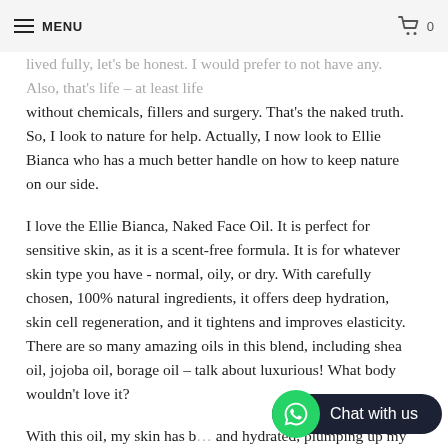MENU | 0
lived fully, let's be honest. I would prefer to not have any. Also, that's life – at least life without chemicals, fillers and surgery. That's the naked truth. So, I look to nature for help. Actually, I now look to Ellie Bianca who has a much better handle on how to keep nature on our side.
I love the Ellie Bianca, Naked Face Oil. It is perfect for sensitive skin, as it is a scent-free formula. It is for whatever skin type you have - normal, oily, or dry. With carefully chosen, 100% natural ingredients, it offers deep hydration, skin cell regeneration, and it tightens and improves elasticity. There are so many amazing oils in this blend, including shea oil, jojoba oil, borage oil – talk about luxurious! What body wouldn't love it?
With this oil, my skin has b... and hydrated, plumping up my fine line areas to minimize them. It absorbs really